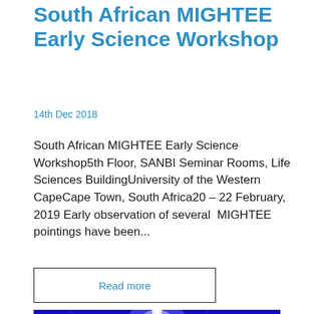South African MIGHTEE Early Science Workshop
14th Dec 2018
South African MIGHTEE Early Science Workshop5th Floor, SANBI Seminar Rooms, Life Sciences BuildingUniversity of the Western CapeCape Town, South Africa20 – 22 February, 2019 Early observation of several  MIGHTEE pointings have been...
Read more
[Figure (photo): Interior of a large stadium or arena illuminated in blue light with structural beams and a bright vertical light beam at center]